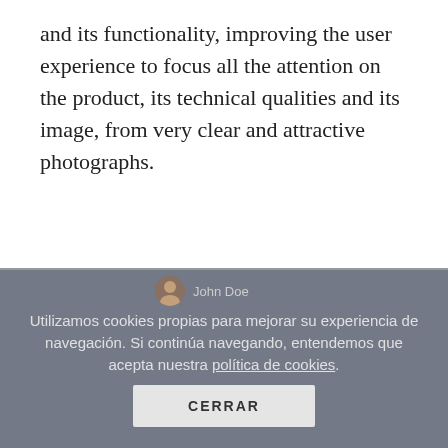and its functionality, improving the user experience to focus all the attention on the product, its technical qualities and its image, from very clear and attractive photographs.
[Figure (screenshot): Cookie consent overlay on a website page, showing a user avatar labeled 'John Doe', a cookie notice in Spanish ('Utilizamos cookies propias para mejorar su experiencia de navegación. Si continúa navegando, entendemos que acepta nuestra política de cookies.'), and a CERRAR (close) button.]